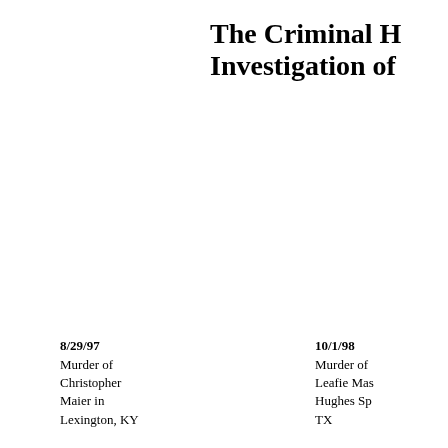The Criminal H… Investigation of…
8/29/97
Murder of Christopher Maier in Lexington, KY
10/1/98
Murder of Leafie Ma… Hughes Sp… TX